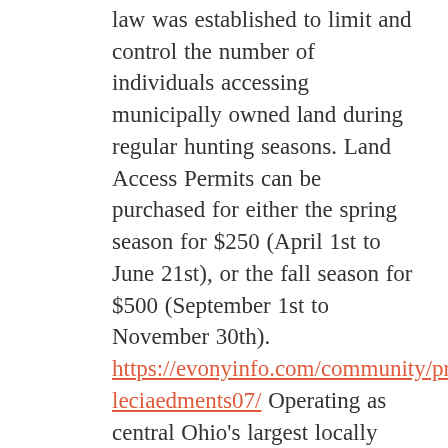law was established to limit and control the number of individuals accessing municipally owned land during regular hunting seasons. Land Access Permits can be purchased for either the spring season for $250 (April 1st to June 21st), or the fall season for $500 (September 1st to November 30th). https://evonyinfo.com/community/profile/aleciaedments07/ Operating as central Ohio's largest locally owned commercial real estate company; NAI Ohio Equities, LLC Realtors has been serving the Columbus real estate market for 45 years. Our mission is to provide the highest quality real estate service by adding… CENTURY 21 Properties Plus, Inc. serves the entire Lowcountry… because YOU DESERVE